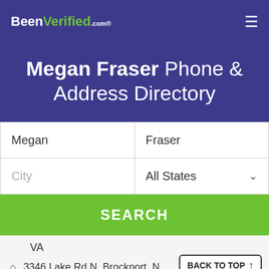BeenVerified.com
Megan Fraser Phone & Address Directory
Megan | Fraser
City | All States
SEARCH
VA
3346 Lake Rd N, Brockport, N
BACK TO TOP ↑